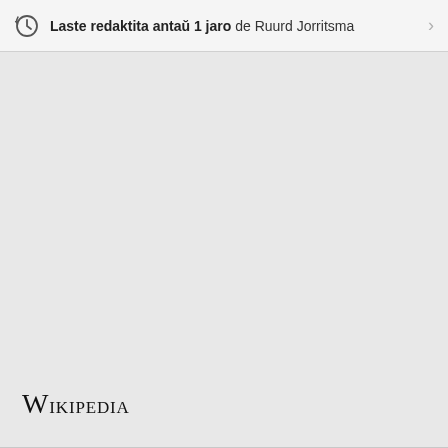Laste redaktita antaŭ 1 jaro de Ruurd Jorritsma
[Figure (logo): Wikipedia wordmark in small-caps serif font at bottom left]